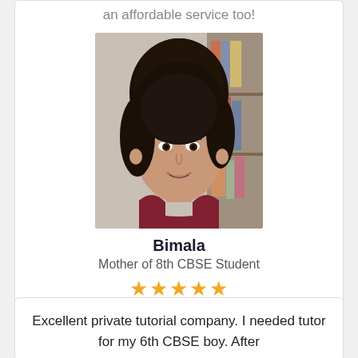an affordable service too!
[Figure (photo): Portrait photo of Bimala, a woman with short dark hair, smiling, with bookshelves in background]
Bimala
Mother of 8th CBSE Student
★★★★★
Excellent private tutorial company. I needed tutor for my 6th CBSE boy. After